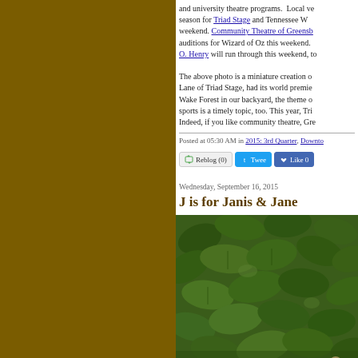Greensboro has great theatre and music and university theatre programs. Local venues season for Triad Stage and Tennessee W... weekend. Community Theatre of Greensboro auditions for Wizard of Oz this weekend. O. Henry will run through this weekend, to...
The above photo is a miniature creation of Lane of Triad Stage, had its world premiere Wake Forest in our backyard, the theme of sports is a timely topic, too. This year, Tri... Indeed, if you like community theatre, Gre...
Posted at 05:30 AM in 2015: 3rd Quarter, Downto...
[Figure (screenshot): Social sharing buttons: Reblog (0), Tweet, Like 0]
Wednesday, September 16, 2015
J is for Janis & Jane
[Figure (photo): Photograph of green leafy plants/shrubs]